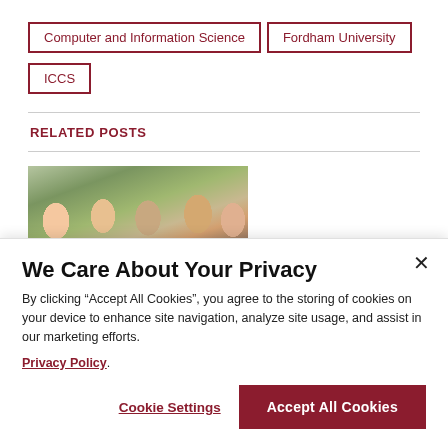Computer and Information Science
Fordham University
ICCS
RELATED POSTS
[Figure (photo): Group of students smiling together indoors]
We Care About Your Privacy
By clicking “Accept All Cookies”, you agree to the storing of cookies on your device to enhance site navigation, analyze site usage, and assist in our marketing efforts.
Privacy Policy
Cookie Settings
Accept All Cookies